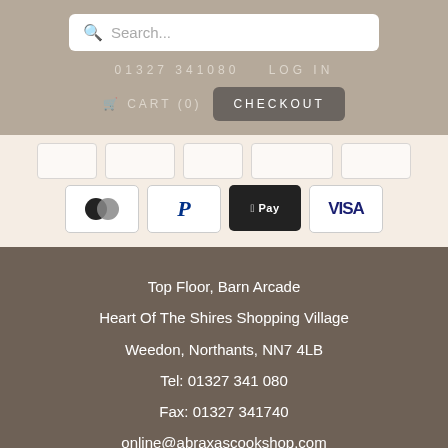[Figure (screenshot): Search bar with magnifying glass icon and placeholder text 'Search...']
01327 341080   LOG IN
CART (0)   CHECKOUT
[Figure (infographic): Payment method icons: Mastercard, PayPal, Apple Pay, Visa]
Top Floor, Barn Arcade
Heart Of The Shires Shopping Village
Weedon, Northants, NN7 4LB
Tel: 01327 341 080
Fax: 01327 341740
online@abraxascookshop.com